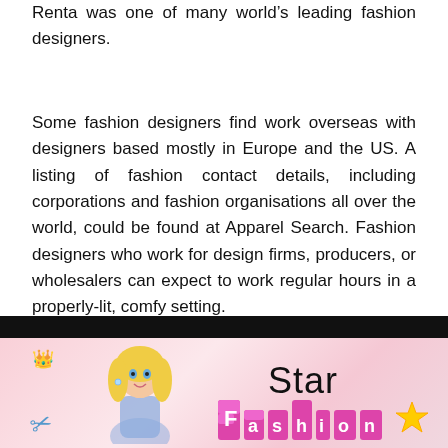Renta was one of many world's leading fashion designers.
Some fashion designers find work overseas with designers based mostly in Europe and the US. A listing of fashion contact details, including corporations and fashion organisations all over the world, could be found at Apparel Search. Fashion designers who work for design firms, producers, or wholesalers can expect to work regular hours in a properly-lit, comfy setting.
[Figure (screenshot): Screenshot of a fashion game app showing a blonde animated character, a purple crown/icon logo in top left, and text reading 'Star Fashion' with pink tiled letters and a gold star icon]